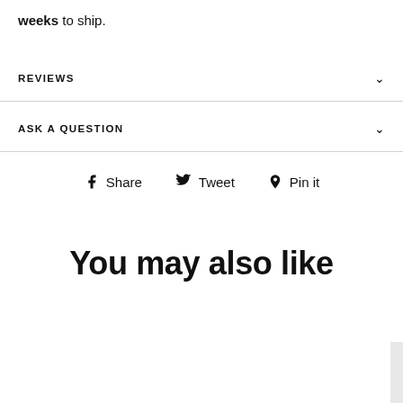weeks to ship.
REVIEWS
ASK A QUESTION
Share  Tweet  Pin it
You may also like